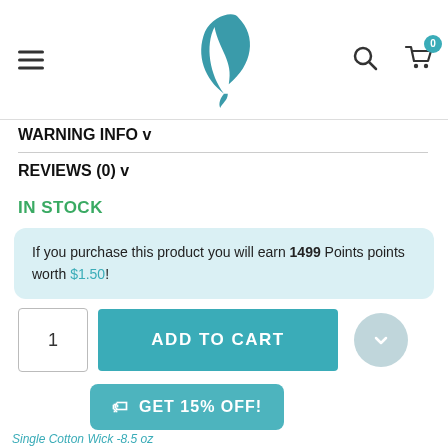[Figure (logo): E-commerce site navigation bar with hamburger menu icon, a stylized teal leaf/flame logo in the center, and search and cart icons on the right with a badge showing 0]
WARNING INFO v
REVIEWS (0) v
IN STOCK
If you purchase this product you will earn 1499 Points points worth $1.50!
1
ADD TO CART
GET 15% OFF!
Single Cotton Wick -8.5 oz